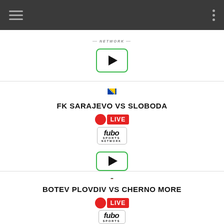[Figure (screenshot): Dark top navigation bar with hamburger menu on left and three dots menu on right]
[Figure (screenshot): First sports card showing partial fubo sports network logo and play button]
FK SARAJEVO VS SLOBODA
[Figure (screenshot): LIVE badge with red dot and fubo Sports Network logo, followed by a play button]
BOTEV PLOVDIV VS CHERNO MORE
[Figure (screenshot): LIVE badge with red dot and fubo Sports Network logo (partial at bottom)]